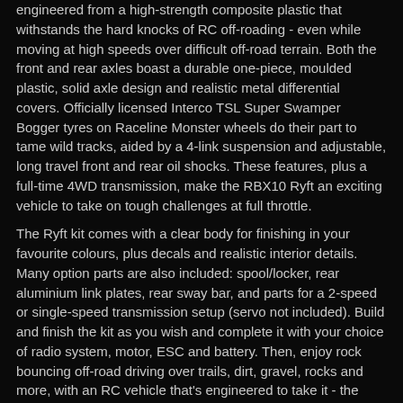engineered from a high-strength composite plastic that withstands the hard knocks of RC off-roading - even while moving at high speeds over difficult off-road terrain. Both the front and rear axles boast a durable one-piece, moulded plastic, solid axle design and realistic metal differential covers. Officially licensed Interco TSL Super Swamper Bogger tyres on Raceline Monster wheels do their part to tame wild tracks, aided by a 4-link suspension and adjustable, long travel front and rear oil shocks. These features, plus a full-time 4WD transmission, make the RBX10 Ryft an exciting vehicle to take on tough challenges at full throttle.
The Ryft kit comes with a clear body for finishing in your favourite colours, plus decals and realistic interior details. Many option parts are also included: spool/locker, rear aluminium link plates, rear sway bar, and parts for a 2-speed or single-speed transmission setup (servo not included). Build and finish the kit as you wish and complete it with your choice of radio system, motor, ESC and battery. Then, enjoy rock bouncing off-road driving over trails, dirt, gravel, rocks and more, with an RC vehicle that's engineered to take it - the Axial RBX10 Ryft 4WD.
Product Features
Strong tube chassis design
Full-time 4WD transmission
Solid front and rear axles with realistic metal differential covers
Hardened steel universal axle set